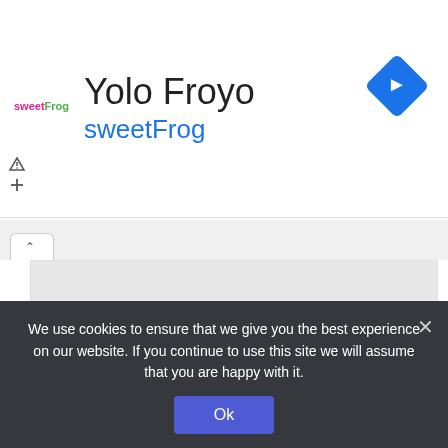[Figure (logo): sweetFrog frozen yogurt logo with a frog icon, company name 'Yolo Froyo' in large text and 'sweetFrog' in blue below]
[Figure (illustration): Blue diamond-shaped navigation/turn icon with a right-arrow in the upper right of the ad banner]
admin  1 hour ago  0
Udonis Haslem To Announce NBA Plans Sunday
Free agent big man Udonis Haslemwho has spent his entire 19-year NBA career with the Heatwill formally announce his future…
We use cookies to ensure that we give you the best experience on our website. If you continue to use this site we will assume that you are happy with it.